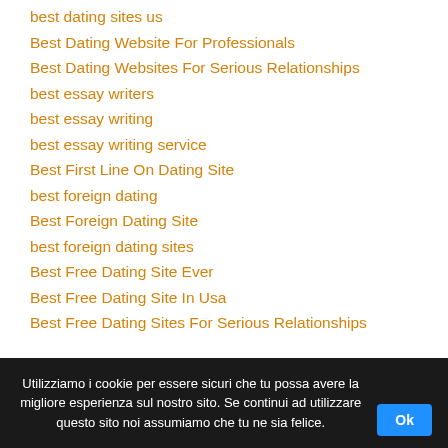best dating sites us
Best Dating Website For Professionals
Best Dating Websites For Serious Relationships
best essay writers
best essay writing
best essay writing service
Best First Line On Dating Site
best foreign dating
Best Foreign Dating Site
best foreign dating sites
Best Free Dating Site Ever
Best Free Dating Site In Usa
Best Free Dating Sites For Serious Relationships
Utilizziamo i cookie per essere sicuri che tu possa avere la migliore esperienza sul nostro sito. Se continui ad utilizzare questo sito noi assumiamo che tu ne sia felice. Ok